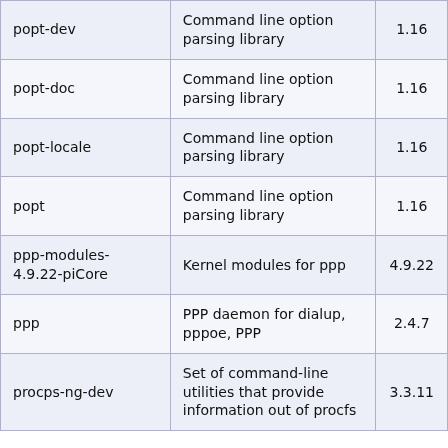| popt-dev | Command line option parsing library | 1.16 |
| popt-doc | Command line option parsing library | 1.16 |
| popt-locale | Command line option parsing library | 1.16 |
| popt | Command line option parsing library | 1.16 |
| ppp-modules-4.9.22-piCore | Kernel modules for ppp | 4.9.22 |
| ppp | PPP daemon for dialup, pppoe, PPP | 2.4.7 |
| procps-ng-dev | Set of command-line utilities that provide information out of procfs | 3.3.11 |